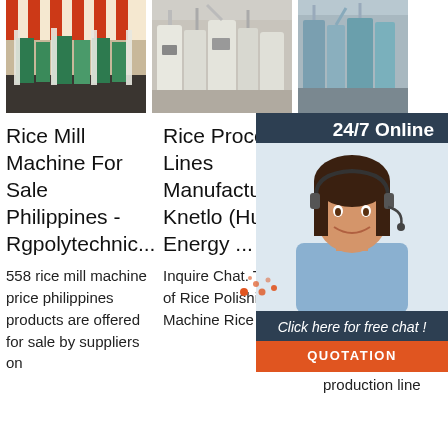[Figure (photo): Rice mill machine interior with green equipment and striped ceiling]
[Figure (photo): Rice processing line equipment, grey/white industrial machines]
[Figure (photo): Industrial rice milling equipment in a factory]
[Figure (infographic): 24/7 Online chat widget with female agent wearing headset, orange QUOTATION button and 'Click here for free chat!' text]
Rice Mill Machine For Sale Philippines - Rgpolytechnic...
Rice Processing Lines ManufacturerR... Knetlo (Hubei) Energy ...
In... R... E... R... 20...
558 rice mill machine price philippines products are offered for sale by suppliers on
Inquire Chat. The Price of Rice Polishing Machine Rice
in... milling equipment is a fully automatic rice mill production line